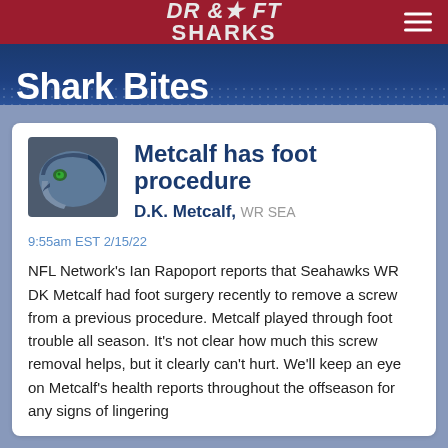DRAFT SHARKS
Shark Bites
Metcalf has foot procedure
D.K. Metcalf, WR SEA
9:55am EST 2/15/22
NFL Network's Ian Rapoport reports that Seahawks WR DK Metcalf had foot surgery recently to remove a screw from a previous procedure. Metcalf played through foot trouble all season. It's not clear how much this screw removal helps, but it clearly can't hurt. We'll keep an eye on Metcalf's health reports throughout the offseason for any signs of lingering